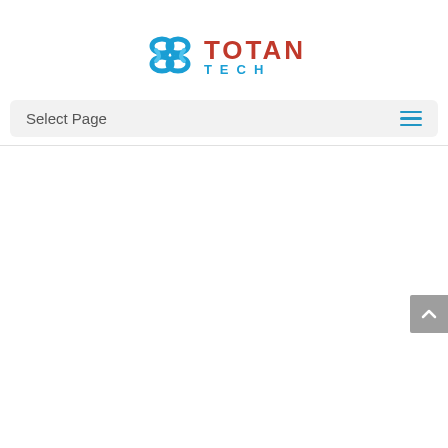[Figure (logo): Totan Tech company logo with a blue infinity-knot icon and the text TOTAN in red and TECH in blue]
Select Page
[Figure (other): Gray scroll-to-top button with an upward chevron arrow on the right side of the page]